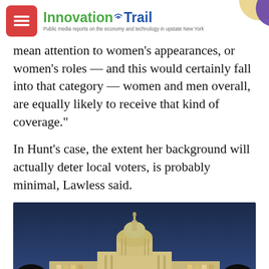InnovationTrail — Public media reports on the economy and technology in upstate New York
mean attention to women's appearances, or women's roles — and this would certainly fall into that category — women and men overall, are equally likely to receive that kind of coverage."
In Hunt's case, the extent her background will actually deter local voters, is probably minimal, Lawless said.
[Figure (photo): Nighttime photo of the United States Capitol building illuminated against a dark blue twilight sky, with bare trees silhouetted in the foreground.]